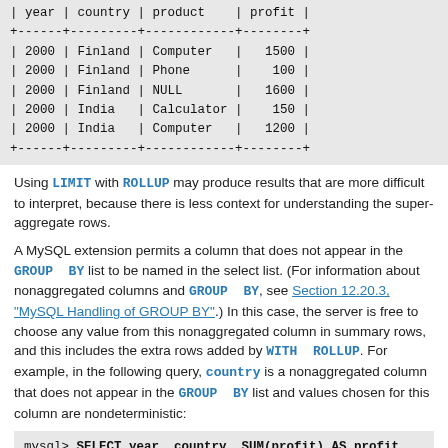| year | country | product | profit |
| --- | --- | --- | --- |
| 2000 | Finland | Computer | 1500 |
| 2000 | Finland | Phone | 100 |
| 2000 | Finland | NULL | 1600 |
| 2000 | India | Calculator | 150 |
| 2000 | India | Computer | 1200 |
Using LIMIT with ROLLUP may produce results that are more difficult to interpret, because there is less context for understanding the super-aggregate rows.
A MySQL extension permits a column that does not appear in the GROUP BY list to be named in the select list. (For information about nonaggregated columns and GROUP BY, see Section 12.20.3, "MySQL Handling of GROUP BY".) In this case, the server is free to choose any value from this nonaggregated column in summary rows, and this includes the extra rows added by WITH ROLLUP. For example, in the following query, country is a nonaggregated column that does not appear in the GROUP BY list and values chosen for this column are nondeterministic:
mysql> SELECT year, country, SUM(profit) AS profit
       FROM sales
       GROUP BY year WITH ROLLUP;